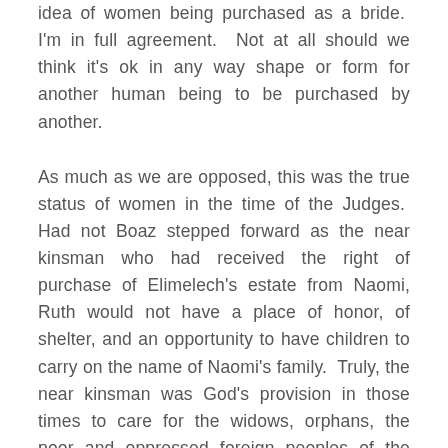idea of women being purchased as a bride.  I'm in full agreement.  Not at all should we think it's ok in any way shape or form for another human being to be purchased by another.
As much as we are opposed, this was the true status of women in the time of the Judges.  Had not Boaz stepped forward as the near kinsman who had received the right of purchase of Elimelech's estate from Naomi, Ruth would not have a place of honor, of shelter, and an opportunity to have children to carry on the name of Naomi's family.  Truly, the near kinsman was God's provision in those times to care for the widows, orphans, the poor and oppressed foreign peoples of the world.
This scripture in Ruth, is God's Word – God breathed –